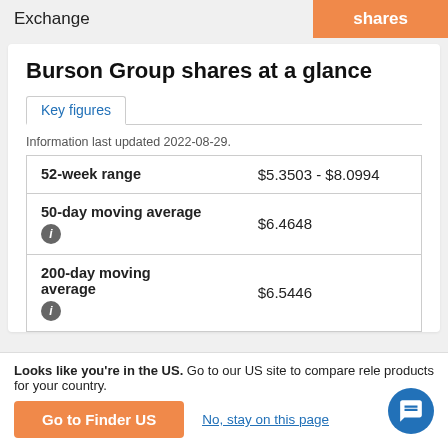Exchange   shares
Burson Group shares at a glance
Key figures
Information last updated 2022-08-29.
|  |  |
| --- | --- |
| 52-week range | $5.3503 - $8.0994 |
| 50-day moving average | $6.4648 |
| 200-day moving average | $6.5446 |
Looks like you're in the US. Go to our US site to compare rele products for your country.
Go to Finder US
No, stay on this page